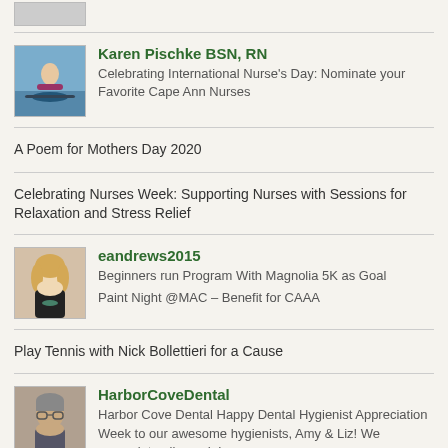[Figure (photo): Small photo placeholder at top (partial)]
[Figure (photo): Profile photo of Karen Pischke BSN, RN (person in kayak on water)]
Karen Pischke BSN, RN
Celebrating International Nurse's Day: Nominate your Favorite Cape Ann Nurses
A Poem for Mothers Day 2020
Celebrating Nurses Week: Supporting Nurses with Sessions for Relaxation and Stress Relief
[Figure (photo): Profile photo of eandrews2015 (woman with blonde hair)]
eandrews2015
Beginners run Program With Magnolia 5K as Goal
Paint Night @MAC – Benefit for CAAA
Play Tennis with Nick Bollettieri for a Cause
[Figure (photo): Profile photo of HarborCoveDental (man with glasses)]
HarborCoveDental
Harbor Cove Dental Happy Dental Hygienist Appreciation Week to our awesome hygienists, Amy & Liz! We appreciate all you do!
Happy St. Patrick's Day! We giving away St. Patty's Day bears at the…